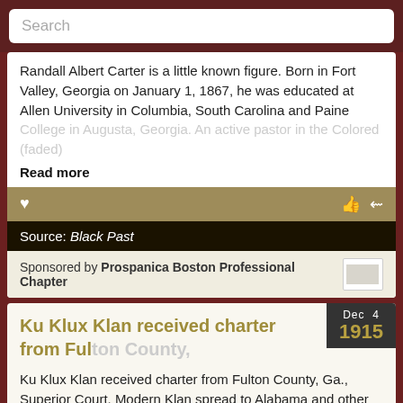Search
Randall Albert Carter is a little known figure. Born in Fort Valley, Georgia on January 1, 1867, he was educated at Allen University in Columbia, South Carolina and Paine College in Augusta, Georgia. An active pastor in the Colored (faded)
Read more
Source: Black Past
Sponsored by Prospanica Boston Professional Chapter
Ku Klux Klan received charter from Fulton County,
Dec 4 1915
Ku Klux Klan received charter from Fulton County, Ga., Superior Court. Modern Klan spread to Alabama and other Southern state and reached height of its influence in the twenties. By 1924 the organization was strong in Oklahoma, Indiana, California, Oregon, Indiana, and